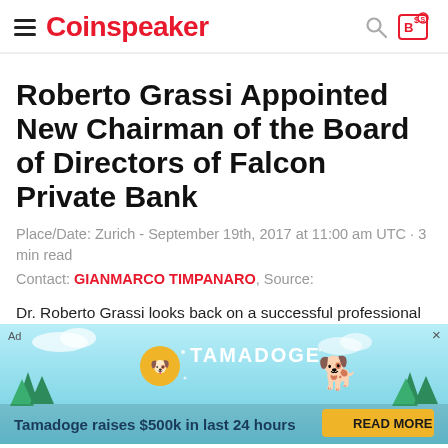Coinspeaker
Roberto Grassi Appointed New Chairman of the Board of Directors of Falcon Private Bank
Place/Date: Zurich - September 19th, 2017 at 11:00 am UTC · 3 min read
Contact: GIANMARCO TIMPANARO, Source:
Dr. Roberto Grassi looks back on a successful professional career of over 30 years, during which he held various management positions in renowned international companies. Since 2001, he has been Chief Executive Officer at Fidinam Group, a global consulting company
[Figure (infographic): Tamadoge advertisement banner: 'Tamadoge raises $500k in last 24 hours' with READ MORE button]